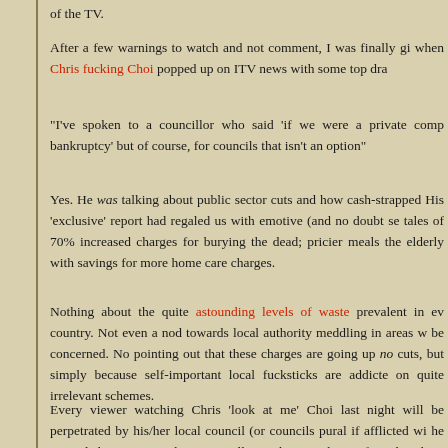of the TV.
After a few warnings to watch and not comment, I was finally gi when Chris fucking Choi popped up on ITV news with some top dra
"I've spoken to a councillor who said 'if we were a private comp bankruptcy' but of course, for councils that isn't an option"
Yes. He was talking about public sector cuts and how cash-strapped His 'exclusive' report had regaled us with emotive (and no doubt se tales of 70% increased charges for burying the dead; pricier meals the elderly with savings for more home care charges.
Nothing about the quite astounding levels of waste prevalent in ev country. Not even a nod towards local authority meddling in areas w be concerned. No pointing out that these charges are going up not cuts, but simply because self-important local fucksticks are addicte on quite irrelevant schemes.
Every viewer watching Chris 'look at me' Choi last night will be perpetrated by his/her local council (or councils pural if afflicted wi he instead chose to paint them as small town heroes who are forced as there is no other option.